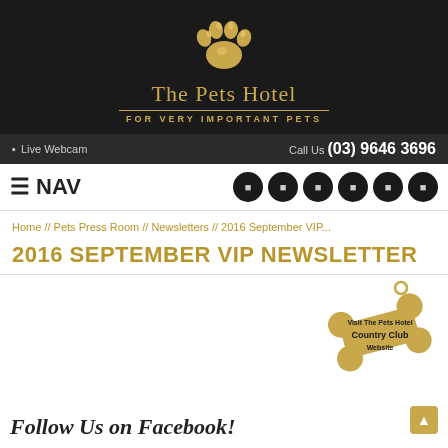[Figure (logo): The Pets Hotel logo with gold paw print icon and text 'The Pets Hotel - FOR VERY IMPORTANT PETS' on dark background]
Live Webcam   Call Us (03) 9646 3696
☰ NAV
Home // Pets Press Room // Newsletters // 2016 September VIP...
2016 SEPTEMBER VIP NEWSLETTER
[Figure (illustration): Gold bone-shaped badge with text 'Visit The Pets Hotel Country Club Website']
Follow Us on Facebook!